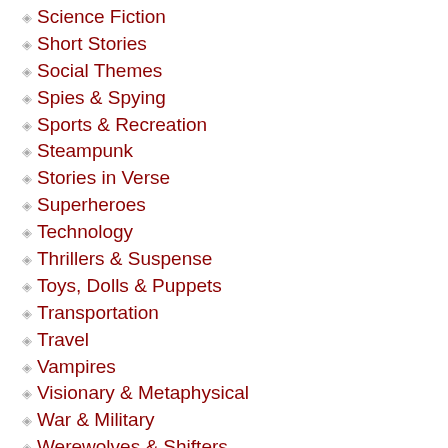Science Fiction
Short Stories
Social Themes
Spies & Spying
Sports & Recreation
Steampunk
Stories in Verse
Superheroes
Technology
Thrillers & Suspense
Toys, Dolls & Puppets
Transportation
Travel
Vampires
Visionary & Metaphysical
War & Military
Werewolves & Shifters
Westerns